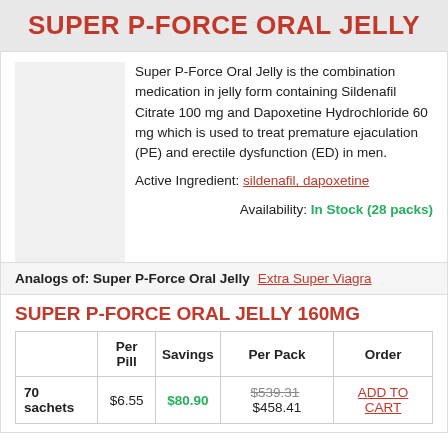SUPER P-FORCE ORAL JELLY
Super P-Force Oral Jelly is the combination medication in jelly form containing Sildenafil Citrate 100 mg and Dapoxetine Hydrochloride 60 mg which is used to treat premature ejaculation (PE) and erectile dysfunction (ED) in men.
Active Ingredient: sildenafil, dapoxetine
Availability: In Stock (28 packs)
Analogs of: Super P-Force Oral Jelly   Extra Super Viagra
SUPER P-FORCE ORAL JELLY 160MG
|  | Per Pill | Savings | Per Pack | Order |
| --- | --- | --- | --- | --- |
| 70 sachets | $6.55 | $80.90 | $539.31 $458.41 | ADD TO CART |